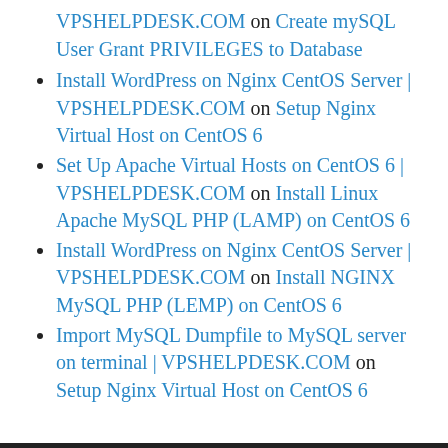VPSHELPDESK.COM on Create mySQL User Grant PRIVILEGES to Database
Install WordPress on Nginx CentOS Server | VPSHELPDESK.COM on Setup Nginx Virtual Host on CentOS 6
Set Up Apache Virtual Hosts on CentOS 6 | VPSHELPDESK.COM on Install Linux Apache MySQL PHP (LAMP) on CentOS 6
Install WordPress on Nginx CentOS Server | VPSHELPDESK.COM on Install NGINX MySQL PHP (LEMP) on CentOS 6
Import MySQL Dumpfile to MySQL server on terminal | VPSHELPDESK.COM on Setup Nginx Virtual Host on CentOS 6